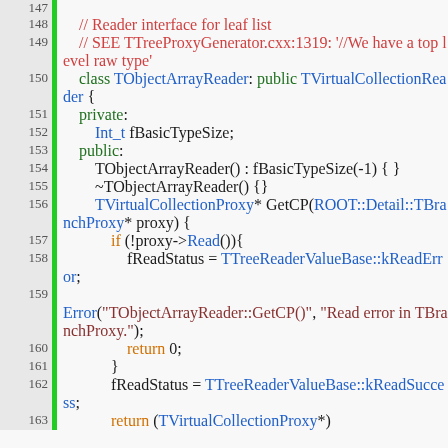[Figure (screenshot): Source code viewer showing C++ code lines 147-163 with line numbers, green gutter bar, and syntax highlighting. Code shows TObjectArrayReader class definition with methods including GetCP.]